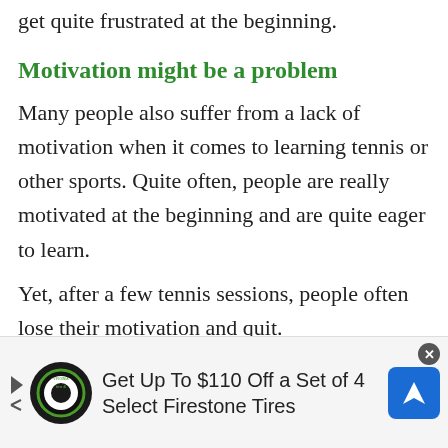get quite frustrated at the beginning.
Motivation might be a problem
Many people also suffer from a lack of motivation when it comes to learning tennis or other sports. Quite often, people are really motivated at the beginning and are quite eager to learn.
Yet, after a few tennis sessions, people often lose their motivation and quit.
[Figure (other): Advertisement banner for Virginia Tire & Auto offering 'Get Up To $110 Off a Set of 4 Select Firestone Tires' with logo and navigation icon.]